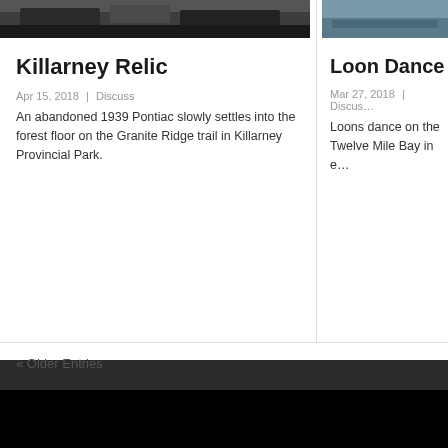[Figure (photo): Partial view of an abandoned 1939 Pontiac on the forest floor, dark tones]
Killarney Relic
Apr 15, 2018 | Discuss
An abandoned 1939 Pontiac slowly settles into the forest floor on the Granite Ridge trail in Killarney Provincial Park.
[Figure (photo): Partial view of loons on water at Twelve Mile Bay, blue-green tones]
Loon Dance
Mar 27, 2018 | Discuss
Loons dance on the Twelve Mile Bay in e…
« Older Entries